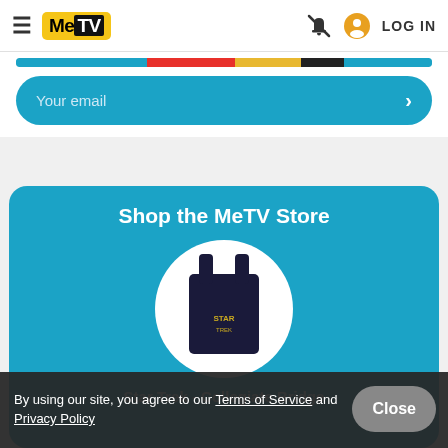MeTV — LOG IN
[Figure (screenshot): Email input field bar with teal/blue rounded button and right arrow]
Shop the MeTV Store
[Figure (photo): Dark navy tank top shirt displayed in a white circle on teal background]
Star Trek - Collegiate Bridge
By using our site, you agree to our Terms of Service and Privacy Policy